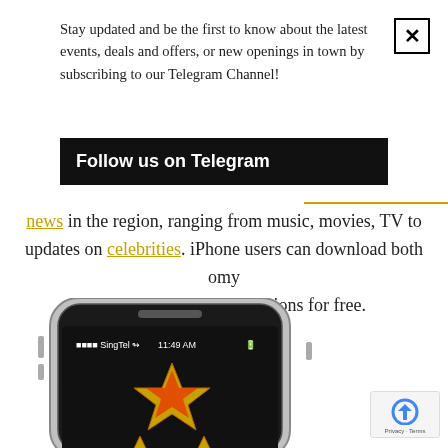Stay updated and be the first to know about the latest events, deals and offers, or new openings in town by subscribing to our Telegram Channel!
Follow us on Telegram
news in the region, ranging from music, movies, TV to updates on celebrities. iPhone users can download both omy and omy Showbiz applications for free.
[Figure (photo): iPhone showing omy Showbiz app with a star logo on screen, displaying SingTel carrier and 11:49 AM]